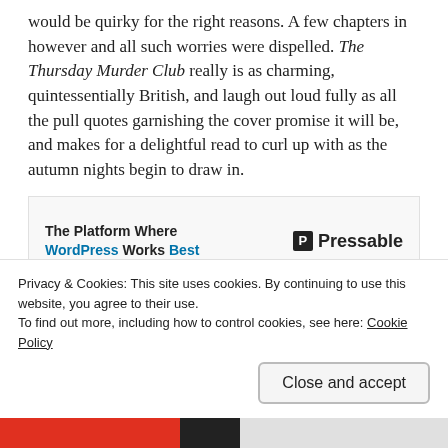would be quirky for the right reasons. A few chapters in however and all such worries were dispelled. The Thursday Murder Club really is as charming, quintessentially British, and laugh out loud fully as all the pull quotes garnishing the cover promise it will be, and makes for a delightful read to curl up with as the autumn nights begin to draw in.
[Figure (screenshot): Advertisement banner for Pressable: 'The Platform Where WordPress Works Best' with Pressable logo on the right.]
REPORT THIS AD
Set in the exclusive retirement village of Cooper's Cl...
Privacy & Cookies: This site uses cookies. By continuing to use this website, you agree to their use.
To find out more, including how to control cookies, see here: Cookie Policy
Close and accept